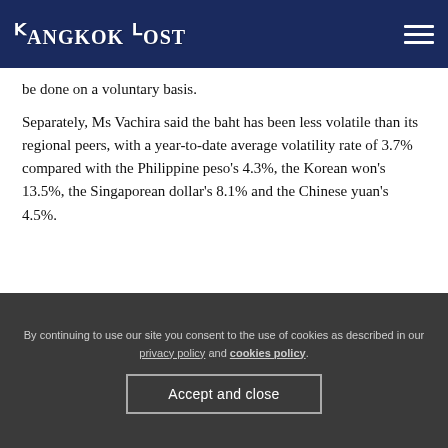Bangkok Post
be done on a voluntary basis.
Separately, Ms Vachira said the baht has been less volatile than its regional peers, with a year-to-date average volatility rate of 3.7% compared with the Philippine peso's 4.3%, the Korean won's 13.5%, the Singaporean dollar's 8.1% and the Chinese yuan's 4.5%.
By continuing to use our site you consent to the use of cookies as described in our privacy policy and cookies policy.